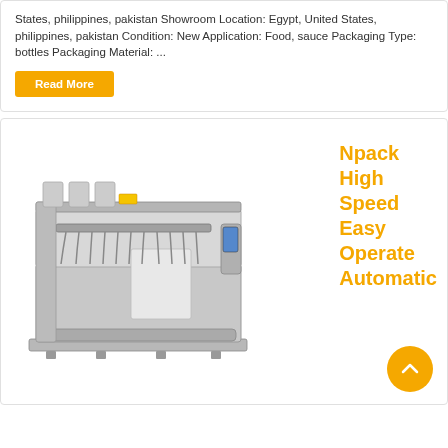States, philippines, pakistan Showroom Location: Egypt, United States, philippines, pakistan Condition: New Application: Food, sauce Packaging Type: bottles Packaging Material: ...
Read More
[Figure (photo): Npack high speed automatic filling machine — stainless steel industrial bottle filling machine with multiple nozzles]
Npack High Speed Easy Operate Automatic